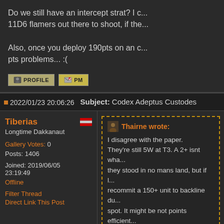Do we still have an intercept strat? I c... 11D6 flamers out there to shoot, if the...
Also, once you deploy 190pts on an c... pts problems... :(
PROFILE | PM
2022/01/23 20:06:26   Subject: Codex Adeptus Custodes
Tiberias
Longtime Dakkanaut
Gallery Votes: 0
Posts: 1406
Joined: 2019/06/05 23:19:49
Offline
Filter Thread
Direct Link This Post
Thairne wrote:
I disagree with the paper.
They're still 5W at T3. A 2+ isnt wha... they stood in no mans land, but if l... recommit a 150+ unit to backline du... spot. It might be not points efficient... away and bind them on the obj that... And considering you may need to h...